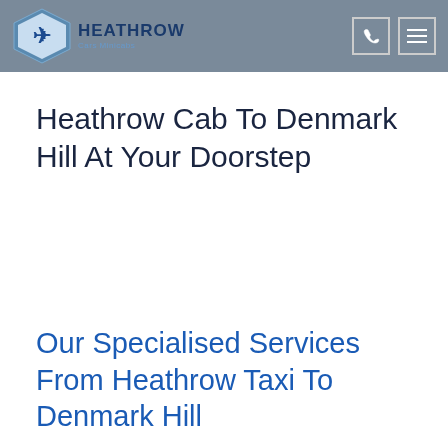HEATHROW Cars Minicabs
Heathrow Cab To Denmark Hill At Your Doorstep
Our Specialised Services From Heathrow Taxi To Denmark Hill